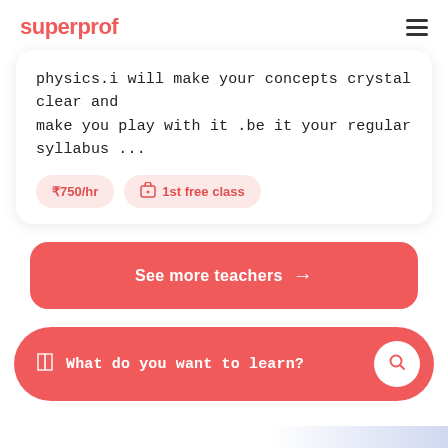superprof
physics.i will make your concepts crystal clear and make you play with it .be it your regular syllabus ...
₹750/hr   1st free class
See more teachers →
What do you want to learn?